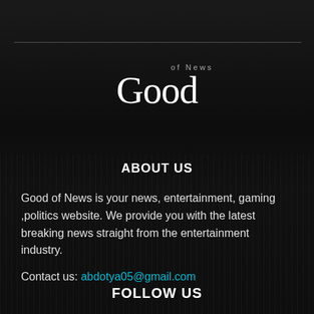Good of News
ABOUT US
Good of News is your news, entertainment, gaming ,politics website. We provide you with the latest breaking news straight from the entertainment industry.
Contact us: abdotya05@gmail.com
FOLLOW US